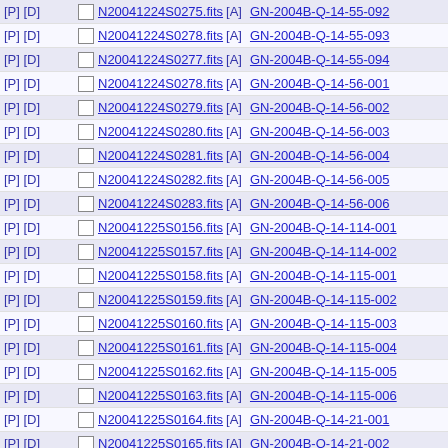| Controls |  | Filename | Tag | Program ID | Date |
| --- | --- | --- | --- | --- | --- |
| [P] [D] |  | N20041224S0275.fits | [A] | GN-2004B-Q-14-55-092 | 2004-1 |
| [P] [D] |  | N20041224S0278.fits | [A] | GN-2004B-Q-14-55-093 | 2004-1 |
| [P] [D] |  | N20041224S0277.fits | [A] | GN-2004B-Q-14-55-094 | 2004-1 |
| [P] [D] |  | N20041224S0278.fits | [A] | GN-2004B-Q-14-56-001 | 2004-1 |
| [P] [D] |  | N20041224S0279.fits | [A] | GN-2004B-Q-14-56-002 | 2004-1 |
| [P] [D] |  | N20041224S0280.fits | [A] | GN-2004B-Q-14-56-003 | 2004-1 |
| [P] [D] |  | N20041224S0281.fits | [A] | GN-2004B-Q-14-56-004 | 2004-1 |
| [P] [D] |  | N20041224S0282.fits | [A] | GN-2004B-Q-14-56-005 | 2004-1 |
| [P] [D] |  | N20041224S0283.fits | [A] | GN-2004B-Q-14-56-006 | 2004-1 |
| [P] [D] |  | N20041225S0156.fits | [A] | GN-2004B-Q-14-114-001 | 2004-1 |
| [P] [D] |  | N20041225S0157.fits | [A] | GN-2004B-Q-14-114-002 | 2004-1 |
| [P] [D] |  | N20041225S0158.fits | [A] | GN-2004B-Q-14-115-001 | 2004-1 |
| [P] [D] |  | N20041225S0159.fits | [A] | GN-2004B-Q-14-115-002 | 2004-1 |
| [P] [D] |  | N20041225S0160.fits | [A] | GN-2004B-Q-14-115-003 | 2004-1 |
| [P] [D] |  | N20041225S0161.fits | [A] | GN-2004B-Q-14-115-004 | 2004-1 |
| [P] [D] |  | N20041225S0162.fits | [A] | GN-2004B-Q-14-115-005 | 2004-1 |
| [P] [D] |  | N20041225S0163.fits | [A] | GN-2004B-Q-14-115-006 | 2004-1 |
| [P] [D] |  | N20041225S0164.fits | [A] | GN-2004B-Q-14-21-001 | 2004-1 |
| [P] [D] |  | N20041225S0165.fits | [A] | GN-2004B-Q-14-21-002 | 2004-1 |
| [P] [D] |  | N20041225S0166.fits | [A] | GN-2004B-Q-14-21-003 | 2004- |